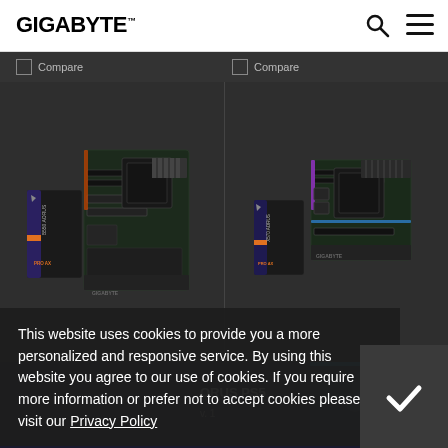GIGABYTE
[Figure (photo): Gigabyte B550 AORUS PRO AX motherboard with product box, left card]
[Figure (photo): Gigabyte X570 AORUS PRO AX mini-ITX motherboard with product box, right card]
[Figure (photo): Partially visible AORUS PS5 product page teaser in bottom right]
This website uses cookies to provide you a more personalized and responsive service. By using this website you agree to our use of cookies. If you require more information or prefer not to accept cookies please visit our Privacy Policy